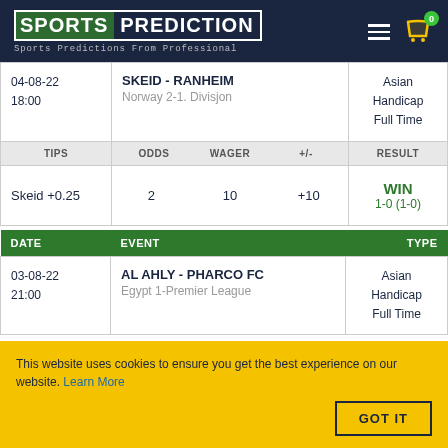SPORTS PREDICTION — Sports Predictions From Professional
| DATE | EVENT | TYPE |
| --- | --- | --- |
| 04-08-22 18:00 | SKEID - RANHEIM
Norway 2-1. Divisjon | Asian Handicap Full Time |
| TIPS | ODDS | WAGER | +/- | RESULT |
| --- | --- | --- | --- | --- |
| Skeid +0.25 | 2 | 10 | +10 | WIN
1-0 (1-0) |
| DATE | EVENT | TYPE |
| --- | --- | --- |
| 03-08-22 21:00 | AL AHLY - PHARCO FC
Egypt 1-Premier League | Asian Handicap Full Time |
This website uses cookies to ensure you get the best experience on our website. Learn More